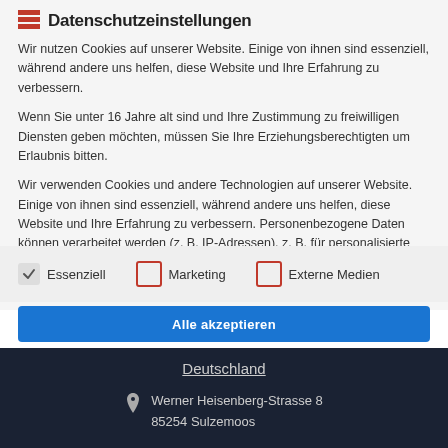Datenschutzeinstellungen
Wir nutzen Cookies auf unserer Website. Einige von ihnen sind essenziell, während andere uns helfen, diese Website und Ihre Erfahrung zu verbessern.
Wenn Sie unter 16 Jahre alt sind und Ihre Zustimmung zu freiwilligen Diensten geben möchten, müssen Sie Ihre Erziehungsberechtigten um Erlaubnis bitten.
Wir verwenden Cookies und andere Technologien auf unserer Website. Einige von ihnen sind essenziell, während andere uns helfen, diese Website und Ihre Erfahrung zu verbessern. Personenbezogene Daten können verarbeitet werden (z. B. IP-Adressen), z. B. für personalisierte Anzeigen und Inhalte oder
Essenziell
Marketing
Externe Medien
Alle akzeptieren
Deutschland
Werner Heisenberg-Strasse 8
85254 Sulzemoos